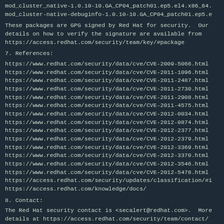mod_cluster_native-1.0.10-10.GA_CP04_patch01.ep5.el4.x86_64.
mod_cluster-native-debuginfo-1.0.10-10.GA_CP04_patch01.ep5.e
These packages are GPG signed by Red Hat for security.  Our details on how to verify the signature are available from
https://access.redhat.com/security/team/key/#package
7. References:
https://www.redhat.com/security/data/cve/CVE-2009-5066.html
https://www.redhat.com/security/data/cve/CVE-2011-1096.html
https://www.redhat.com/security/data/cve/CVE-2011-2487.html
https://www.redhat.com/security/data/cve/CVE-2011-2730.html
https://www.redhat.com/security/data/cve/CVE-2011-2908.html
https://www.redhat.com/security/data/cve/CVE-2011-4575.html
https://www.redhat.com/security/data/cve/CVE-2012-0034.html
https://www.redhat.com/security/data/cve/CVE-2012-0874.html
https://www.redhat.com/security/data/cve/CVE-2012-2377.html
https://www.redhat.com/security/data/cve/CVE-2012-2379.html
https://www.redhat.com/security/data/cve/CVE-2012-3369.html
https://www.redhat.com/security/data/cve/CVE-2012-3370.html
https://www.redhat.com/security/data/cve/CVE-2012-3546.html
https://www.redhat.com/security/data/cve/CVE-2012-5478.html
https://access.redhat.com/security/updates/classification/#i
https://access.redhat.com/knowledge/docs/
8. Contact:
The Red Hat security contact is <secalert@redhat.com>.  More details at https://access.redhat.com/security/team/contact/
Copyright 2013 Red Hat, Inc.
-----BEGIN PGP SIGNATURE-----